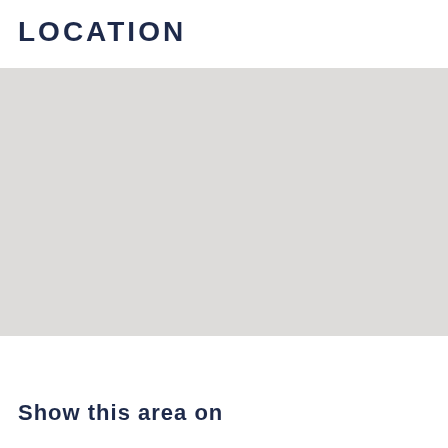LOCATION
[Figure (map): A plain light grey map placeholder area]
Show this area on...